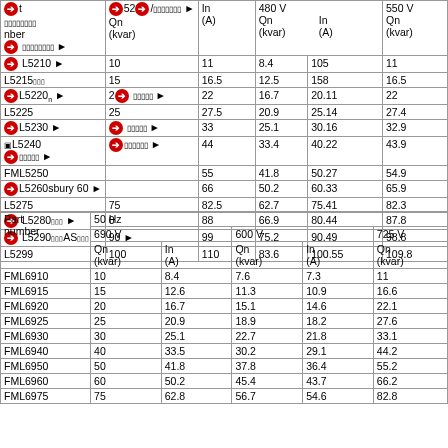| Part number | Qn (kvar) | In (A) | 480 V Qn (kvar) | 480 V In (A) | 550 V Qn (kvar) |
| --- | --- | --- | --- | --- | --- |
| L5210 | 10 | 11 | 8.4 | 105 | 11 |
| L5215 | 15 | 16.5 | 12.5 | 158 | 16.5 |
| L5220 | 20 | 22 | 16.7 | 20.11 | 22 |
| L5225 | 25 | 27.5 | 20.9 | 25.14 | 27.4 |
| L5230 |  | 33 | 25.1 | 30.16 | 32.9 |
| L5240 |  | 44 | 33.4 | 40.22 | 43.9 |
| FML5250 |  | 55 | 41.8 | 50.27 | 54.9 |
| L5260 | 60 | 66 | 50.2 | 60.33 | 65.9 |
| L5275 | 75 | 82.5 | 62.7 | 75.41 | 82.3 |
| L5280 | 0 | 88 | 66.9 | 80.44 | 87.8 |
| L5290 | 90 | 99 | 75.2 | 90.49 | 98.8 |
| L5299 | 100 | 110 | 83.6 | 100.55 | 109.8 |
| Part number | 690 V Qn (kvar) | 690 V In (A) | 600 V Qn (kvar) | 600 V In (A) | 725 V Qn (kvar) |
| --- | --- | --- | --- | --- | --- |
| FML6910 | 10 | 8.4 | 7.6 | 7.3 | 11 |
| FML6915 | 15 | 12.6 | 11.3 | 10.9 | 16.6 |
| FML6920 | 20 | 16.7 | 15.1 | 14.6 | 22.1 |
| FML6925 | 25 | 20.9 | 18.9 | 18.2 | 27.6 |
| FML6930 | 30 | 25.1 | 22.7 | 21.8 | 33.1 |
| FML6940 | 40 | 33.5 | 30.2 | 29.1 | 44.2 |
| FML6950 | 50 | 41.8 | 37.8 | 36.4 | 55.2 |
| FML6960 | 60 | 50.2 | 45.4 | 43.7 | 66.2 |
| FML6975 | 75 | 62.8 | 56.7 | 54.6 | 82.8 |